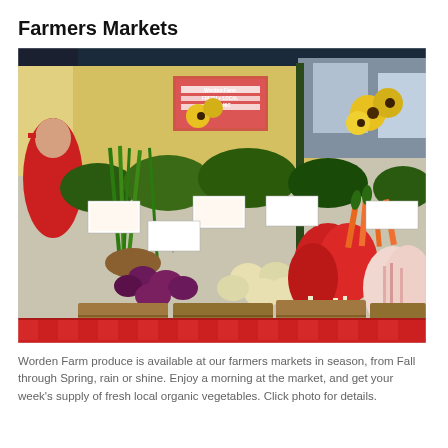Farmers Markets
[Figure (photo): Worden Farm produce stand at a farmers market showing fresh vegetables including green onions, kohlrabi, radishes, carrots, sunflowers, and various greens with price signs. A vendor in red shirt is visible. Sign reads 'Fresh + Local Organic'.]
Worden Farm produce is available at our farmers markets in season, from Fall through Spring, rain or shine. Enjoy a morning at the market, and get your week's supply of fresh local organic vegetables. Click photo for details.